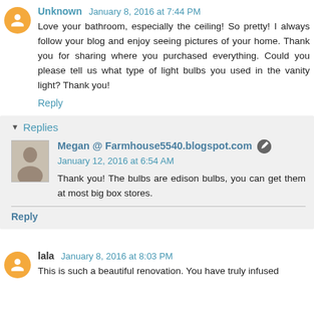Unknown January 8, 2016 at 7:44 PM
Love your bathroom, especially the ceiling! So pretty! I always follow your blog and enjoy seeing pictures of your home. Thank you for sharing where you purchased everything. Could you please tell us what type of light bulbs you used in the vanity light? Thank you!
Reply
Replies
Megan @ Farmhouse5540.blogspot.com January 12, 2016 at 6:54 AM
Thank you! The bulbs are edison bulbs, you can get them at most big box stores.
Reply
lala January 8, 2016 at 8:03 PM
This is such a beautiful renovation. You have truly infused